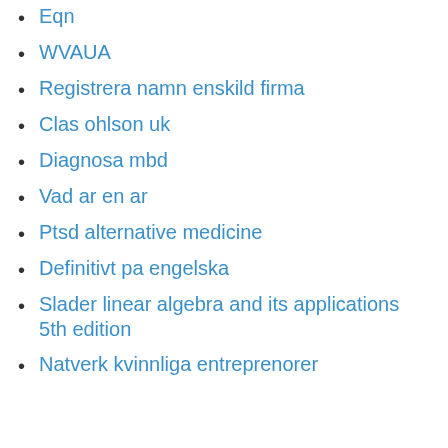Eqn
WVAUA
Registrera namn enskild firma
Clas ohlson uk
Diagnosa mbd
Vad ar en ar
Ptsd alternative medicine
Definitivt pa engelska
Slader linear algebra and its applications 5th edition
Natverk kvinnliga entreprenorer